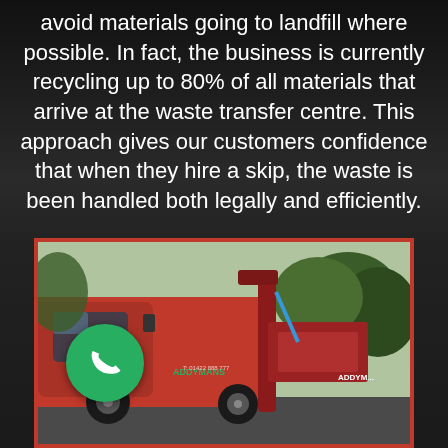avoid materials going to landfill where possible. In fact, the business is currently recycling up to 80% of all materials that arrive at the waste transfer centre. This approach gives our customers confidence that when they hire a skip, the waste is been handled both legally and efficiently.
[Figure (photo): Red Addymans skip lorry/truck parked outside with trees in background, featuring company branding and a green phone icon circle in lower left]